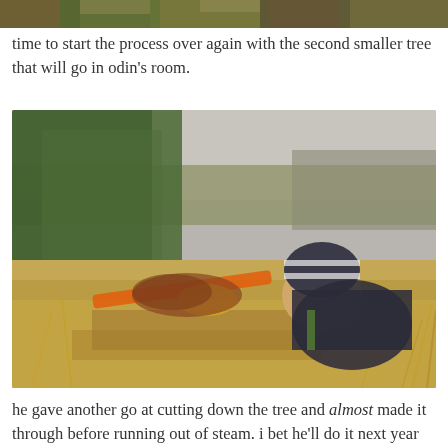[Figure (photo): Top strip of a photo showing an outdoor scene, partially cropped at the top of the page.]
time to start the process over again with the second smaller tree that will go in odin’s room.
[Figure (photo): A child wearing a striped winter hat and dark jacket lies on dry brown grass and leaves near the base of a small pine tree, appearing to be sawing it with an orange-handled saw. The background shows a field with bare deciduous trees.]
he gave another go at cutting down the tree and almost made it through before running out of steam. i bet he’ll do it next year